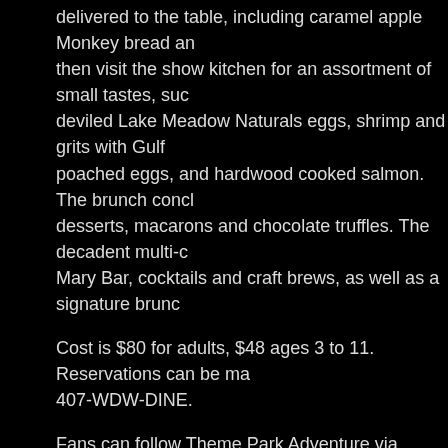delivered to the table, including caramel apple Monkey bread an then visit the show kitchen for an assortment of small tastes, suc deviled Lake Meadow Naturals eggs, shrimp and grits with Gulf poached eggs, and hardwood cooked salmon. The brunch concl desserts, macarons and chocolate truffles. The decadent multi-c Mary Bar, cocktails and craft brews, as well as a signature brunc
Cost is $80 for adults, $48 ages 3 to 11. Reservations can be ma 407-WDW-DINE.
Fans can follow Theme Park Adventure via social media on Face #ThemeParkAdventure), Twitter, and Periscope for live streams popular and unique Periscope broadcasts are archived and may
TPAers, share this!
Share 2 | Tweet | Share | Save | More
This entry was posted in Home Page, Home Page Slider, News and tagged Disn Bookmark the permalink.